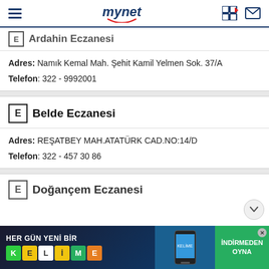mynet
Adres: Namık Kemal Mah. Şehit Kamil Yelmen Sok. 37/A
Telefon: 322 - 9992001
Belde Eczanesi
Adres: REŞATBEY MAH.ATATÜRK CAD.NO:14/D
Telefon: 322 - 457 30 86
Doğançem Eczanesi
[Figure (screenshot): HER GÜN YENİ BİR KELİME advertisement banner with app screenshot and İNDİRMEDEN OYNA button]